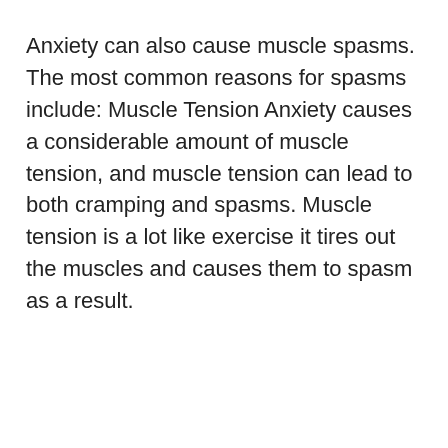Anxiety can also cause muscle spasms. The most common reasons for spasms include: Muscle Tension Anxiety causes a considerable amount of muscle tension, and muscle tension can lead to both cramping and spasms. Muscle tension is a lot like exercise it tires out the muscles and causes them to spasm as a result.